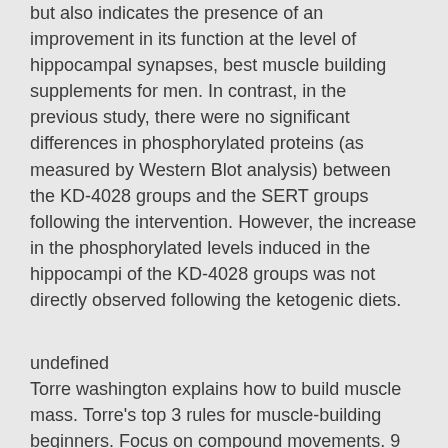but also indicates the presence of an improvement in its function at the level of hippocampal synapses, best muscle building supplements for men. In contrast, in the previous study, there were no significant differences in phosphorylated proteins (as measured by Western Blot analysis) between the KD-4028 groups and the SERT groups following the intervention. However, the increase in the phosphorylated levels induced in the hippocampi of the KD-4028 groups was not directly observed following the ketogenic diets.
undefined
Torre washington explains how to build muscle mass. Torre's top 3 rules for muscle-building beginners. Focus on compound movements. 9 мая 2019 г. — overall, the evidence suggests that protein supplementation can help build muscle in